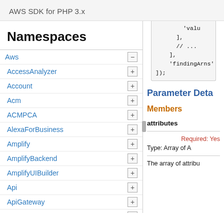AWS SDK for PHP 3.x
Namespaces
Aws
AccessAnalyzer
Account
Acm
ACMPCA
AlexaForBusiness
Amplify
AmplifyBackend
AmplifyUIBuilder
Api
ApiGateway
ApiGatewayManagementApi
[Figure (screenshot): Code block showing PHP array with 'valu...', ], // ..., ], 'findingArns'... ]);]
Parameter Deta...
Members
attributes
Required: Yes
Type: Array of A
The array of attribu...